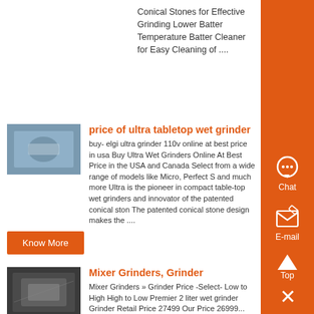Conical Stones for Effective Grinding Lower Batter Temperature Batter Cleaner for Easy Cleaning of ....
Know More
price of ultra tabletop wet grinder
buy- elgi ultra grinder 110v online at best price in usa Buy Ultra Wet Grinders Online At Best Price in the USA and Canada Select from a wide range of models like Micro, Perfect S and much more Ultra is the pioneer in compact table-top wet grinders and innovator of the patented conical ston The patented conical stone design makes the ....
Know More
Mixer Grinders, Grinder
Mixer Grinders » Grinder Price -Select- Low to High High to Low Premier 2 liter wet grinder Grinder Retail Price 27499 Our Price 26999...